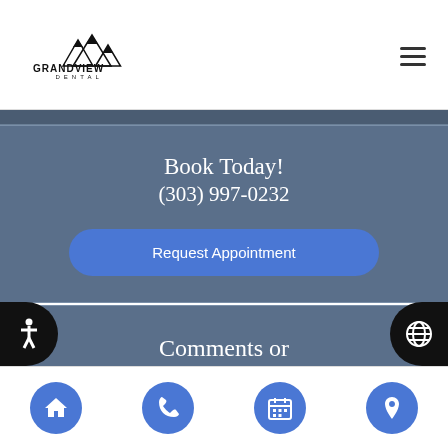[Figure (logo): Grandview Dental logo with mountain peaks above text GRANDVIEW DENTAL]
Book Today!
(303) 997-0232
Request Appointment
Comments or Suggestions?
[Figure (infographic): Bottom navigation bar with four circular blue buttons: home, phone, calendar, location pin icons]